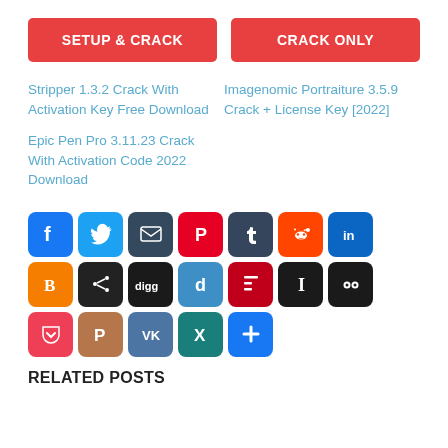SETUP & CRACK
CRACK ONLY
Stripper 1.3.2 Crack With Activation Key Free Download
Imagenomic Portraiture 3.5.9 Crack + License Key [2022]
Epic Pen Pro 3.11.23 Crack With Activation Code 2022 Download
[Figure (infographic): Social sharing icon buttons: Facebook, Twitter, Email, Pinterest, Tumblr, Reddit, LinkedIn, Blogger, Share, Digg, Delicious, Flipboard, Instapaper, Myspace, Pocket, Plurk, VK, Xing, AddThis]
RELATED POSTS